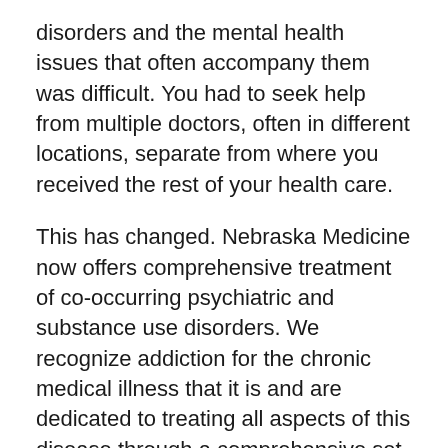disorders and the mental health issues that often accompany them was difficult. You had to seek help from multiple doctors, often in different locations, separate from where you received the rest of your health care.
This has changed. Nebraska Medicine now offers comprehensive treatment of co-occurring psychiatric and substance use disorders. We recognize addiction for the chronic medical illness that it is and are dedicated to treating all aspects of this disease through a comprehensive set of services at one convenient location. Our goal is to help you regain your mental health, achieve your recovery goals and restore your life to maximum functional capacity.
We provide: